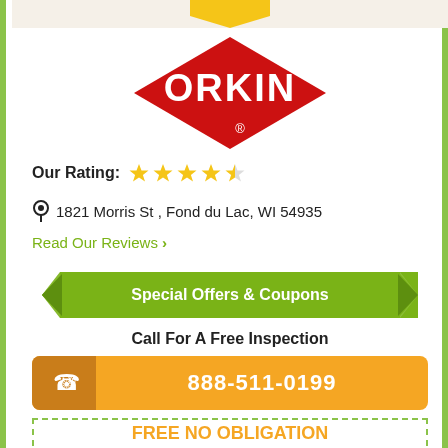[Figure (logo): Orkin pest control logo — red diamond shape with white ORKIN text and registered trademark symbol]
Our Rating: ★★★★½
📍 1821 Morris St , Fond du Lac, WI 54935
Read Our Reviews ›
Special Offers & Coupons
Call For A Free Inspection
888-511-0199
FREE NO OBLIGATION